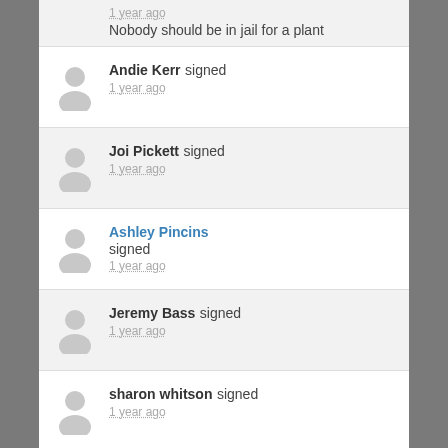1 year ago — Nobody should be in jail for a plant
Andie Kerr signed — 1 year ago
Joi Pickett signed — 1 year ago
Ashley Pincins signed — 1 year ago
Jeremy Bass signed — 1 year ago
sharon whitson signed — 1 year ago